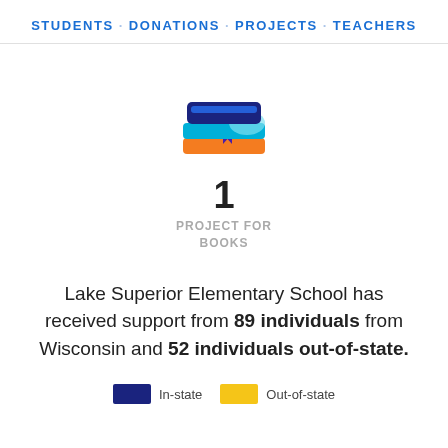STUDENTS · DONATIONS · PROJECTS · TEACHERS
[Figure (illustration): Stack of colorful books icon with a bookmark]
1
PROJECT FOR BOOKS
Lake Superior Elementary School has received support from 89 individuals from Wisconsin and 52 individuals out-of-state.
In-state   Out-of-state